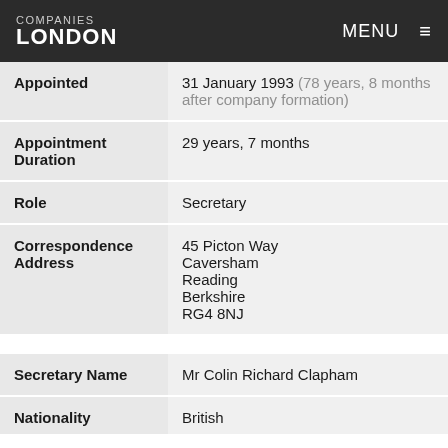COMPANIES LONDON  MENU
| Appointed | 31 January 1993 (78 years, 8 months after company formation) |
| Appointment Duration | 29 years, 7 months |
| Role | Secretary |
| Correspondence Address | 45 Picton Way
Caversham
Reading
Berkshire
RG4 8NJ |
| Secretary Name | Mr Colin Richard Clapham |
| Nationality | British |